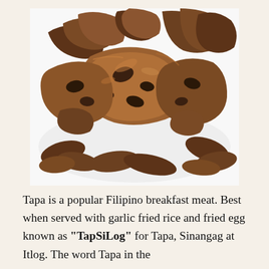[Figure (photo): Close-up photo of Filipino Tapa — pieces of cured, fried beef meat piled on a white plate. The meat is dark brown and caramelized on the edges with crispy texture.]
Tapa is a popular Filipino breakfast meat. Best when served with garlic fried rice and fried egg known as "TapSiLog" for Tapa, Sinangag at Itlog. The word Tapa in the